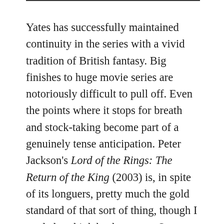Yates has successfully maintained continuity in the series with a vivid tradition of British fantasy. Big finishes to huge movie series are notoriously difficult to pull off. Even the points where it stops for breath and stock-taking become part of a genuinely tense anticipation. Peter Jackson's Lord of the Rings: The Return of the King (2003) is, in spite of its longuers, pretty much the gold standard of that sort of thing, though I tended to think back more to Star Wars – Episode VI: Return of the Jedi (1983), the underrated series closer of the Star Wars saga, as one of the better examples that, in spite of the Ewoks and lazy plotting, managed to